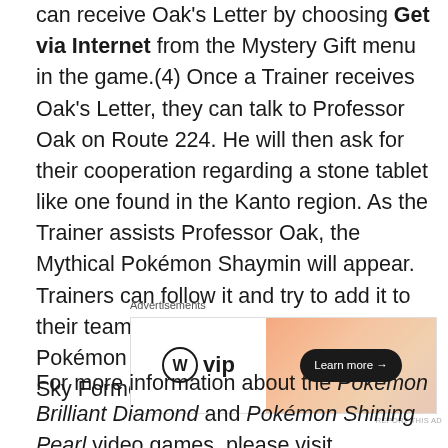can receive Oak's Letter by choosing Get via Internet from the Mystery Gift menu in the game.(4) Once a Trainer receives Oak's Letter, they can talk to Professor Oak on Route 224. He will then ask for their cooperation regarding a stone tablet like one found in the Kanto region. As the Trainer assists Professor Oak, the Mythical Pokémon Shaymin will appear. Trainers can follow it and try to add it to their team. Shaymin is the Gratitude Pokémon and is able to change into its Sky Forme using the Gracidea item.(5)
[Figure (other): Advertisement banner for WordPress VIP with a 'Learn more →' button on an orange gradient background]
For more information about the Pokémon Brilliant Diamond and Pokémon Shining Pearl video games, please visit Pokemon.com/DiamondPearl